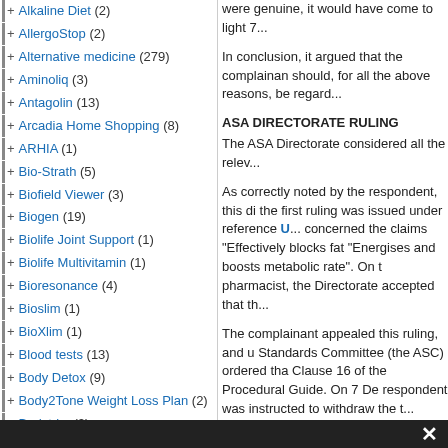Alkaline Diet (2)
AllergoStop (2)
Alternative medicine (279)
Aminoliq (3)
Antagolin (13)
Arcadia Home Shopping (8)
ARHIA (1)
Bio-Strath (5)
Biofield Viewer (3)
Biogen (19)
Biolife Joint Support (1)
Biolife Multivitamin (1)
Bioresonance (4)
Bioslim (1)
BioXlim (1)
Blood tests (13)
Body Detox (9)
Body2Tone Weight Loss Plan (2)
Bodytrim (2)
Brazilian hair treatment (1)
Breast Enhancers (4)
Breast thermography (1)
Cancer (4)
Collagen (8)
were genuine, it would have come to light 7...
In conclusion, it argued that the complainant should, for all the above reasons, be regarded...
ASA DIRECTORATE RULING
The ASA Directorate considered all the relev...
As correctly noted by the respondent, this di... the first ruling was issued under reference U... concerned the claims "Effectively blocks fat... "Energises and boosts metabolic rate". On t... pharmacist, the Directorate accepted that th...
The complainant appealed this ruling, and u... Standards Committee (the ASC) ordered tha... Clause 16 of the Procedural Guide. On 7 De... respondent was instructed to withdraw the t...
On 17 October 2006, the Directorate issued... respondent for making the same claims on i... sanction was imposed as a result of this.
On 13 August 2007, the respondent was ag... website. A once-off pre-clearance sanction i... on the respondent.